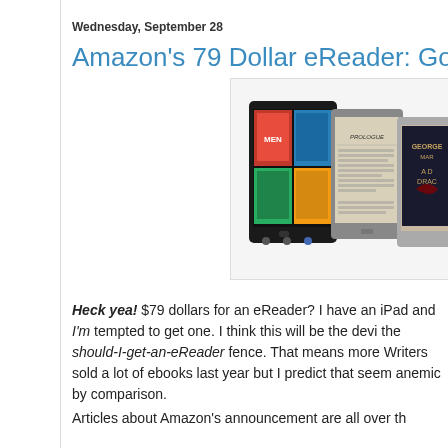Wednesday, September 28
Amazon's 79 Dollar eReader: Good fo
[Figure (photo): Photo showing Amazon Kindle Fire tablet and two Kindle e-readers side by side]
Heck yea! $79 dollars for an eReader? I have an iPad and I'm tempted to get one. I think this will be the device that gets people off the should-I-get-an-eReader fence. That means more ebooks sold. Writers sold a lot of ebooks last year but I predict that those numbers will seem anemic by comparison.
Articles about Amazon's announcement are all over th